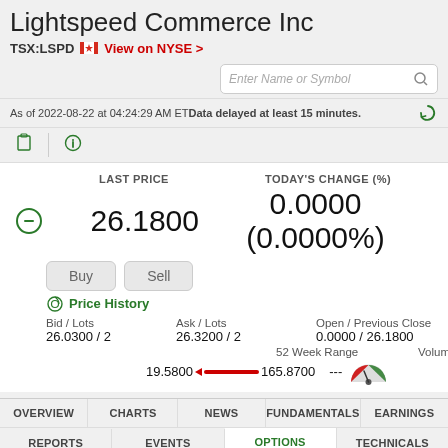Lightspeed Commerce Inc
TSX:LSPD 🇨🇦 View on NYSE >
Enter Name or Symbol
As of 2022-08-22 at 04:24:29 AM ET Data delayed at least 15 minutes.
LAST PRICE
26.1800
TODAY'S CHANGE (%)
0.0000 (0.0000%)
Bid / Lots: 26.0300 / 2
Ask / Lots: 26.3200 / 2
Open / Previous Close: 0.0000 / 26.1800
Day Range: ---
52 Week Range: 19.5800 --- 165.8700
Volume: ---
Price History
OVERVIEW | CHARTS | NEWS | FUNDAMENTALS | EARNINGS
REPORTS | EVENTS | OPTIONS | TECHNICALS